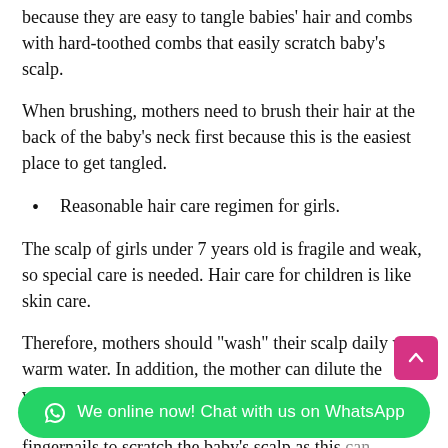Mothers should also avoid using round tube combs because they are easy to tangle babies' hair and combs with hard-toothed combs that easily scratch baby's scalp.
When brushing, mothers need to brush their hair at the back of the baby's neck first because this is the easiest place to get tangled.
Reasonable hair care regimen for girls.
The scalp of girls under 7 years old is fragile and weak, so special care is needed. Hair care for children is like skin care.
Therefore, mothers should "wash" their scalp daily with warm water. In addition, the mother can dilute the water with a little vinegar and use her hands to gently rub the baby's scalp, absolutely do not use her fingernails to scratch the baby's scalp as this can damage ba...
After cleaning your child's scalp with water, you